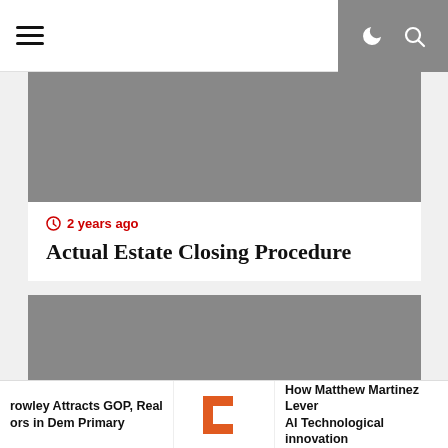Navigation header with hamburger menu and icons
[Figure (photo): Gray placeholder image for first article]
2 years ago
Actual Estate Closing Procedure
[Figure (photo): Gray placeholder image for second article]
2 years ago
rowley Attracts GOP, Real ors in Dem Primary
[Figure (logo): Orange letter C logo]
How Matthew Martinez Lever AI Technological innovation